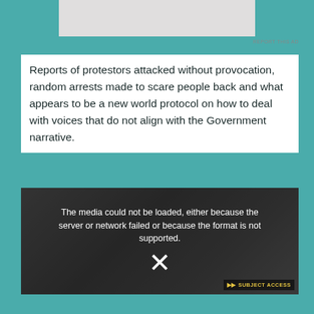[Figure (other): Ad banner placeholder, light gray rectangle]
REPORT THIS AD
Reports of protestors attacked without provocation, random arrests made to scare people back and what appears to be a new world protocol on how to deal with voices that do not align with the Government narrative.
[Figure (photo): Video player showing media load error message over a darkened photo of protesters and police officers. Error text reads: 'The media could not be loaded, either because the server or network failed or because the format is not supported.' An X symbol appears below. A 'SUBJECT ACCESS' badge is shown in the bottom right corner.]